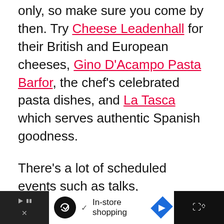only, so make sure you come by then. Try Cheese Leadenhall for their British and European cheeses, Gino D'Acampo Pasta Barfor, the chef's celebrated pasta dishes, and La Tasca which serves authentic Spanish goodness.
There's a lot of scheduled events such as talks, installations, concerts, so look at their events page first. Leadenhall is near Fenchurch Street Station and visitor attractions include the Monument to the Great Fire of London.